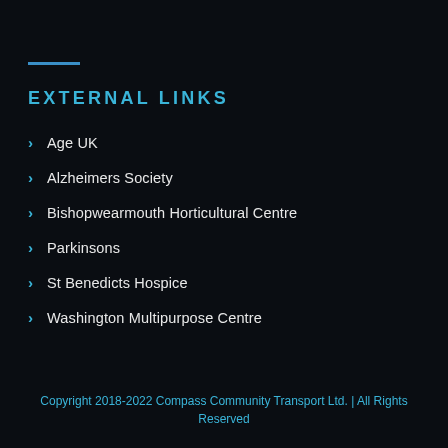EXTERNAL LINKS
Age UK
Alzheimers Society
Bishopwearmouth Horticultural Centre
Parkinsons
St Benedicts Hospice
Washington Multipurpose Centre
Copyright 2018-2022 Compass Community Transport Ltd. | All Rights Reserved